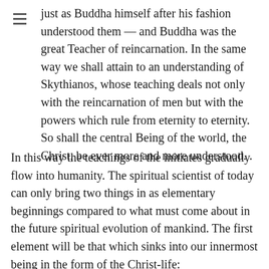just as Buddha himself after his fashion understood them — and Buddha was the great Teacher of reincarnation. In the same way we shall attain to an understanding of Skythianos, whose teaching deals not only with the reincarnation of men but with the powers which rule from eternity to eternity. So shall the central Being of the world, the Christ, be ever more and more understood. .
In this way the teachings of the initiates gradually flow into humanity. The spiritual scientist of today can only bring two things in as elementary beginnings compared to what must come about in the future spiritual evolution of mankind. The first element will be that which sinks into our innermost being in the form of the Christ-life: